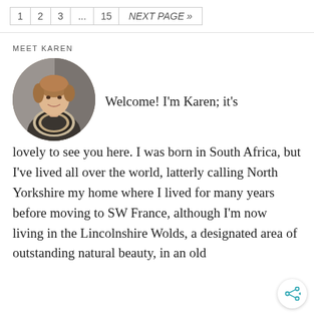1  2  3  ...  15  NEXT PAGE »
MEET KAREN
[Figure (photo): Circular portrait photo of a woman named Karen with short curly hair, wearing a patterned scarf/cowl, outdoors against a stone wall background.]
Welcome! I'm Karen; it's lovely to see you here. I was born in South Africa, but I've lived all over the world, latterly calling North Yorkshire my home where I lived for many years before moving to SW France, although I'm now living in the Lincolnshire Wolds, a designated area of outstanding natural beauty, in an old